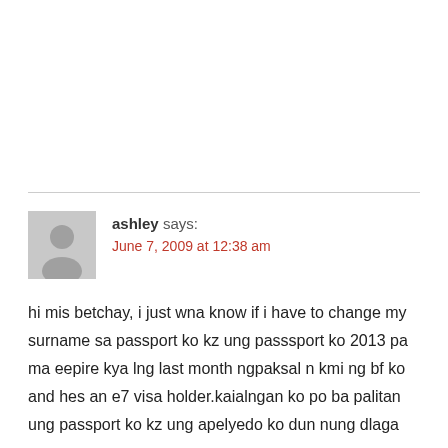ashley says: June 7, 2009 at 12:38 am
hi mis betchay, i just wna know if i have to change my surname sa passport ko kz ung passsport ko 2013 pa ma eepire kya lng last month ngpaksal n kmi ng bf ko and hes an e7 visa holder.kaialngan ko po ba palitan ung passport ko kz ung apelyedo ko dun nung dlaga pa